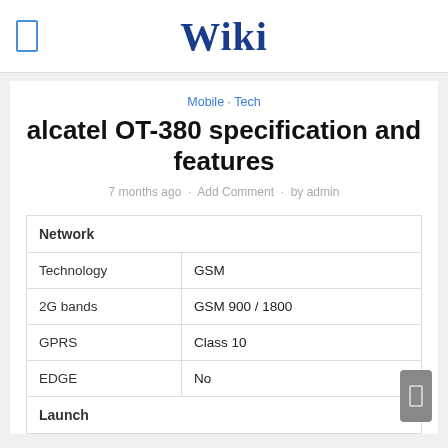Wiki
Mobile · Tech
alcatel OT-380 specification and features
7 months ago · Add Comment · by admin
| Network |  |
| --- | --- |
| Technology | GSM |
| 2G bands | GSM 900 / 1800 |
| GPRS | Class 10 |
| EDGE | No |
| Launch |  |